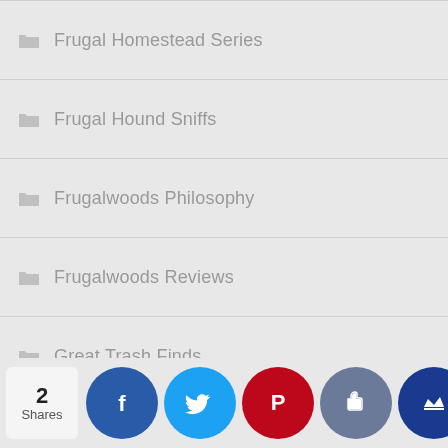Frugal Homestead Series
Frugal Hound Sniffs
Frugalwoods Philosophy
Frugalwoods Reviews
Great Trash Finds
Health and Beauty
Health Insurance
Holidays and Special Occasions
Home Improvement
[Figure (other): Social share bar with 2 Shares, Facebook, Twitter, Pinterest, Thumbs-up, and Crown buttons]